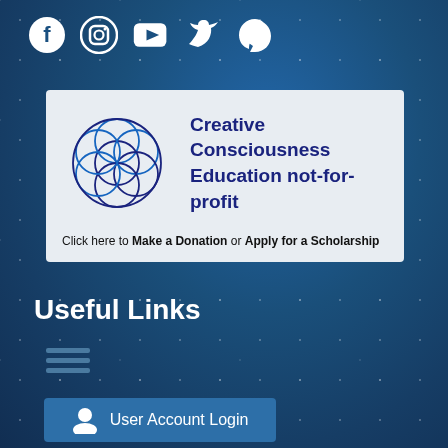[Figure (infographic): Row of social media icons: Facebook, Instagram, YouTube, Twitter (X), Pinterest — white icons on dark blue background]
[Figure (logo): Creative Consciousness Education not-for-profit logo banner with Seed of Life / Flower of Life geometric logo on left and text on right, light grey background. Text reads: Creative Consciousness Education not-for-profit. Below: Click here to Make a Donation or Apply for a Scholarship]
Useful Links
[Figure (other): Hamburger menu icon — three horizontal lines]
[Figure (other): User Account Login button with person silhouette icon]